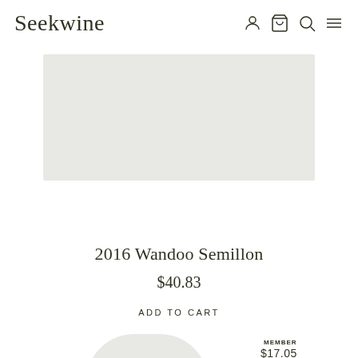Seekwine
[Figure (illustration): Light grey rectangle placeholder for wine product image]
2016 Wandoo Semillon
$40.83
ADD TO CART
[Figure (illustration): Partial rounded grey shape at bottom — top of next product image card]
MEMBER $17.05